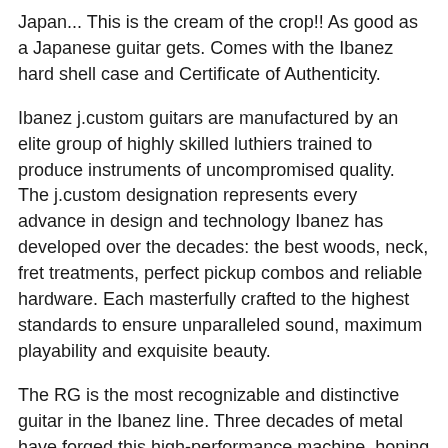Japan... This is the cream of the crop!! As good as a Japanese guitar gets. Comes with the Ibanez hard shell case and Certificate of Authenticity.
Ibanez j.custom guitars are manufactured by an elite group of highly skilled luthiers trained to produce instruments of uncompromised quality. The j.custom designation represents every advance in design and technology Ibanez has developed over the decades: the best woods, neck, fret treatments, perfect pickup combos and reliable hardware. Each masterfully crafted to the highest standards to ensure unparalleled sound, maximum playability and exquisite beauty.
The RG is the most recognizable and distinctive guitar in the Ibanez line. Three decades of metal have forged this high-performance machine, honing it for both speed and strength. Whether you favor a hardtail (fixed) bridge or our industry-leading locking tremolo system, the RG is a precision instrument.